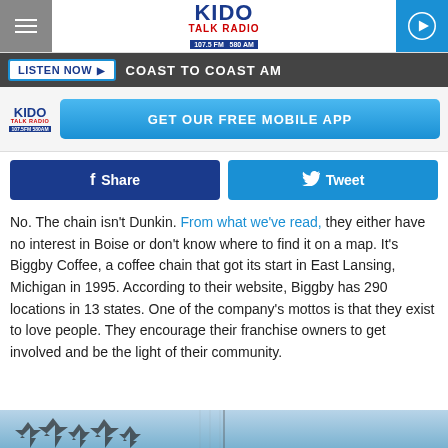KIDO Talk Radio 107.5 FM 580 AM — COAST TO COAST AM
[Figure (screenshot): GET OUR FREE MOBILE APP banner with KIDO logo]
[Figure (screenshot): Facebook Share and Twitter Tweet social buttons]
No. The chain isn't Dunkin. From what we've read, they either have no interest in Boise or don't know where to find it on a map. It's Biggby Coffee, a coffee chain that got its start in East Lansing, Michigan in 1995. According to their website, Biggby has 290 locations in 13 states. One of the company's mottos is that they exist to love people. They encourage their franchise owners to get involved and be the light of their community.
[Figure (photo): Winter landscape photo strip at the bottom of the page]